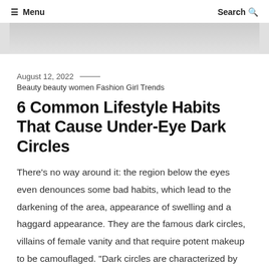≡ Menu   Search 🔍
[Figure (photo): Partial image strip at top of article, appears to be a cropped photo with light gray background]
August 12, 2022 ——
Beauty beauty women Fashion Girl Trends
6 Common Lifestyle Habits That Cause Under-Eye Dark Circles
There's no way around it: the region below the eyes even denounces some bad habits, which lead to the darkening of the area, appearance of swelling and a haggard appearance. They are the famous dark circles, villains of female vanity and that require potent makeup to be camouflaged. "Dark circles are characterized by